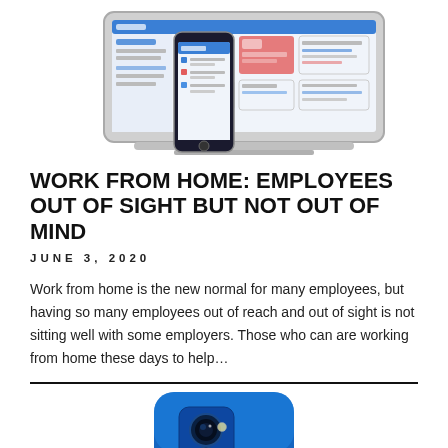[Figure (screenshot): A smartphone and a laptop side by side showing a software/dashboard interface with lists and colorful card widgets on a white background.]
WORK FROM HOME: EMPLOYEES OUT OF SIGHT BUT NOT OUT OF MIND
JUNE 3, 2020
Work from home is the new normal for many employees, but having so many employees out of reach and out of sight is not sitting well with some employers. Those who can are working from home these days to help…
[Figure (photo): Close-up of the back of a blue smartphone showing a triple camera module on a dark blue glossy back surface.]